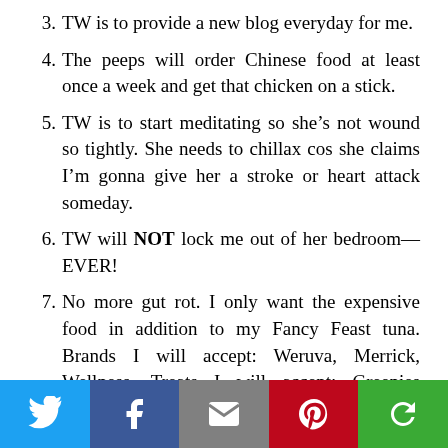3. TW is to provide a new blog everyday for me.
4. The peeps will order Chinese food at least once a week and get that chicken on a stick.
5. TW is to start meditating so she’s not wound so tightly. She needs to chillax cos she claims I’m gonna give her a stroke or heart attack someday.
6. TW will NOT lock me out of her bedroom—EVER!
7. No more gut rot. I only want the expensive food in addition to my Fancy Feast tuna. Brands I will accept: Weruva, Merrick, Wellness. Treats I will accept: Greenies SmartBites, Wellness Kittles and